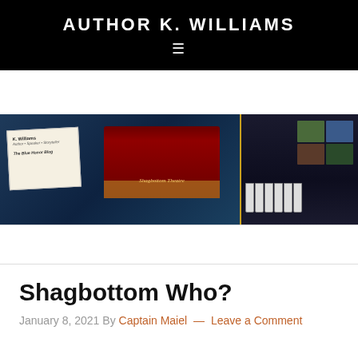AUTHOR K. WILLIAMS
[Figure (illustration): Website banner image for Author K. Williams blog, showing a collage with a paper card/letter on the left with text 'K. Williams - The Blue Honor Blog', a theater stage with red curtains in the center, and piano keys on the right side, all set against a dark blue background.]
Shagbottom Who?
January 8, 2021 By Captain Maiel — Leave a Comment